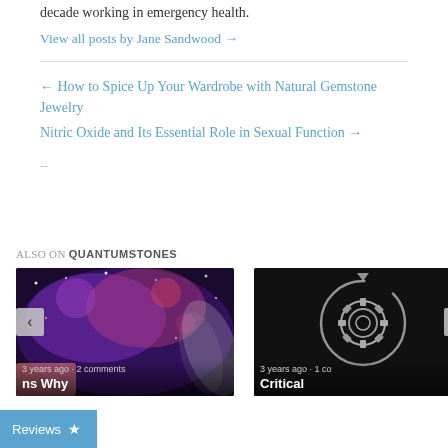decade working in emergency health.
View all posts by Jane Sandwood →
← How to Spice Up Your Wardrobe with Natural Gemstone Jewelry
Nitric Oxide and Its Essential Role in Sexual Function →
--
ALSO ON QUANTUMSTONES
[Figure (photo): Card thumbnail: purple galaxy/nebula space image with mushroom elements]
3 years ago • 2 comments
ns Why
[Figure (photo): Card thumbnail: dark background with gear/atom molecular diagram in white]
3 years ago • 1 co
Critical
Reviews ★